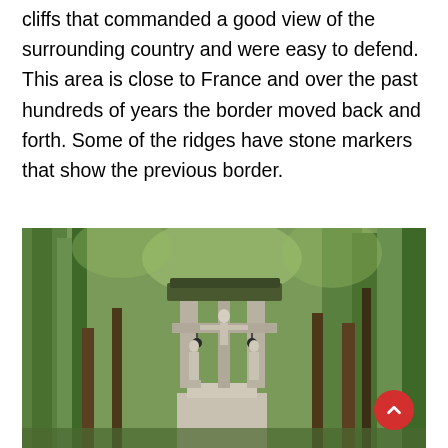These castles were built on top of the sandstone cliffs that commanded a good view of the surrounding country and were easy to defend. This area is close to France and over the past hundreds of years the border moved back and forth. Some of the ridges have stone markers that show the previous border.
[Figure (photo): A religious monument or wayside shrine with a crucifix and two flanking statues, set among tall trees in a forest. A small dark-roofed canopy sits atop the structure. The photograph is taken looking up at the monument amidst lush green foliage.]